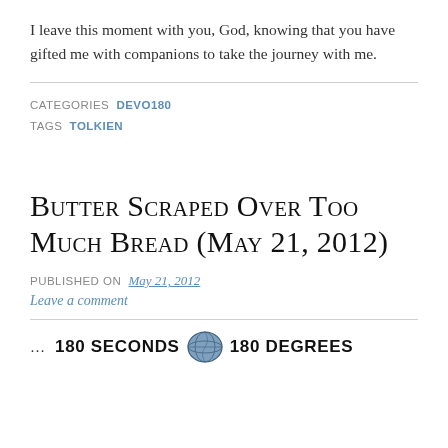I leave this moment with you, God, knowing that you have gifted me with companions to take the journey with me.
CATEGORIES  DEVO180
TAGS  TOLKIEN
Butter Scraped Over Too Much Bread (May 21, 2012)
PUBLISHED ON  May 21, 2012
Leave a comment
...    180 SECONDS   180 DEGREES